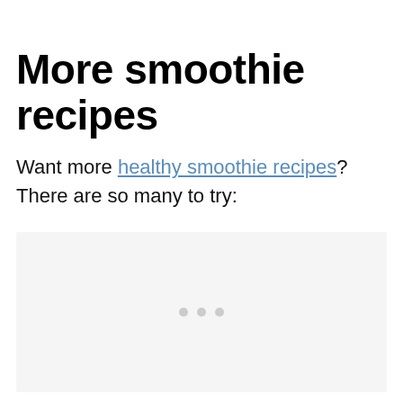More smoothie recipes
Want more healthy smoothie recipes? There are so many to try:
[Figure (other): Loading placeholder image area with three grey dots indicating content loading]